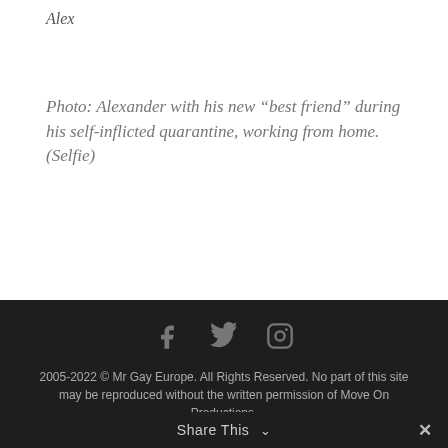Alex
Photo: Alexander with his new “best friend” during his self-inflicted quarantine, working from home. (Selfie)
[Figure (other): Social media icons: Facebook, Twitter, Instagram in footer]
2005-2022 © Mr Gay Europe. All Rights Reserved. No part of this site may be reproduced without the written permission of Move On Productions.
Share This